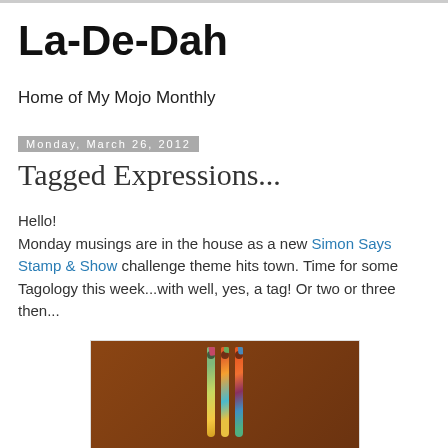La-De-Dah
Home of My Mojo Monthly
Monday, March 26, 2012
Tagged Expressions...
Hello!
Monday musings are in the house as a new Simon Says Stamp & Show challenge theme hits town. Time for some Tagology this week...with well, yes, a tag! Or two or three then...
[Figure (photo): Three colorful decorated tags with mixed media art, featuring bright colors (yellow, green, red, blue), flowers, and silhouettes, displayed against a brick background]